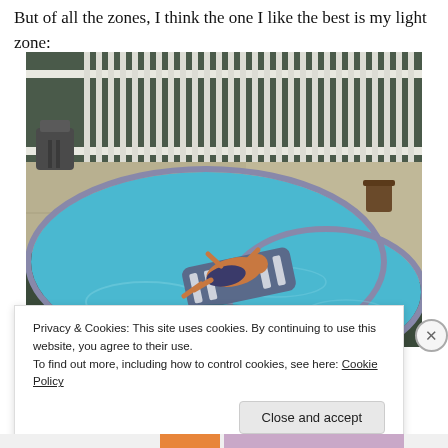But of all the zones, I think the one I like the best is my light zone:
[Figure (photo): Person relaxing on a float in a kidney-shaped backyard swimming pool, with a white fence and patio visible in the background.]
Privacy & Cookies: This site uses cookies. By continuing to use this website, you agree to their use.
To find out more, including how to control cookies, see here: Cookie Policy
Close and accept